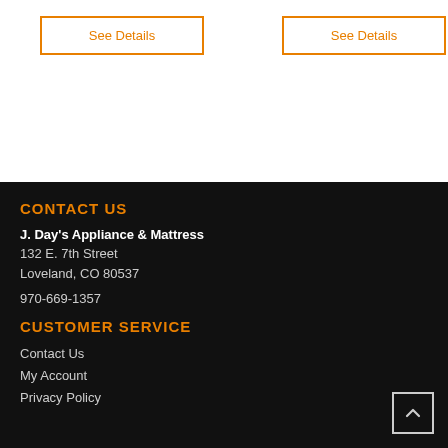See Details
See Details
CONTACT US
J. Day's Appliance & Mattress
132 E. 7th Street
Loveland, CO 80537
970-669-1357
CUSTOMER SERVICE
Contact Us
My Account
Privacy Policy